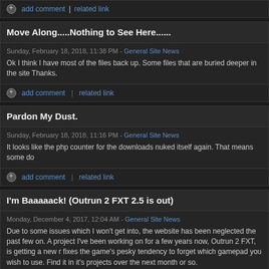+ add comment | related link
Move Along.....Nothing to See Here......
Sunday, February 18, 2018, 11:38 PM - General Site News
Ok I think I have most of the files back up. Some files that are buried deeper in the site Thanks.
+ add comment | related link
Pardon My Dust.
Sunday, February 18, 2018, 11:16 PM - General Site News
It looks like the php counter for the downloads nuked itself again. That means some do
+ add comment | related link
I'm Baaaaack! (Outrun 2 FXT 2.5 is out)
Monday, December 4, 2017, 12:04 AM - General Site News
Due to some issues which I won't get into, the website has been neglected the past few on. A project I've been working on for a few years now, Outrun 2 FXT, is getting a new r fixes the game's pesky tendency to forget which gamepad you wish to use. Find it in it's projects over the next month or so.
+ 3 comments ( 656 views ) | related link